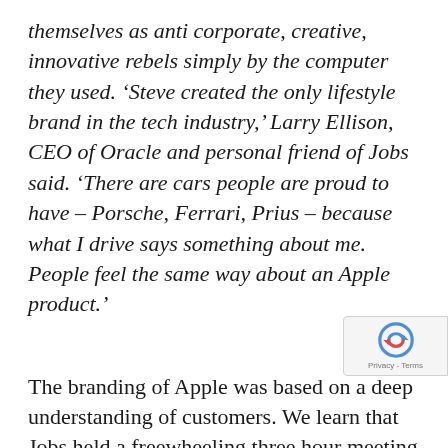themselves as anti corporate, creative, innovative rebels simply by the computer they used. 'Steve created the only lifestyle brand in the tech industry,' Larry Ellison, CEO of Oracle and personal friend of Jobs said. 'There are cars people are proud to have – Porsche, Ferrari, Prius – because what I drive says something about me. People feel the same way about an Apple product.'
The branding of Apple was based on a deep understanding of customers. We learn that Jobs held a freewheeling three hour meeting every Wednesday afternoon with his top agency,